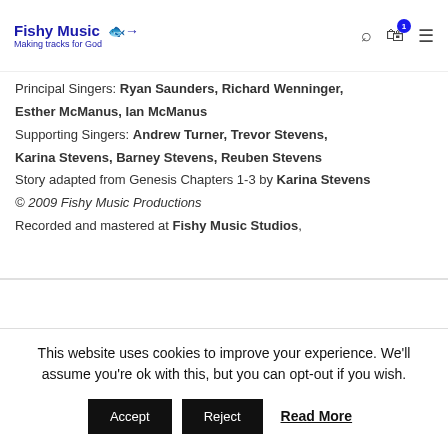Fishy Music – Making tracks for God
Principal Singers: Ryan Saunders, Richard Wenninger,
Esther McManus, Ian McManus
Supporting Singers: Andrew Turner, Trevor Stevens,
Karina Stevens, Barney Stevens, Reuben Stevens
Story adapted from Genesis Chapters 1-3 by Karina Stevens
© 2009 Fishy Music Productions
Recorded and mastered at Fishy Music Studios,
This website uses cookies to improve your experience. We'll assume you're ok with this, but you can opt-out if you wish.